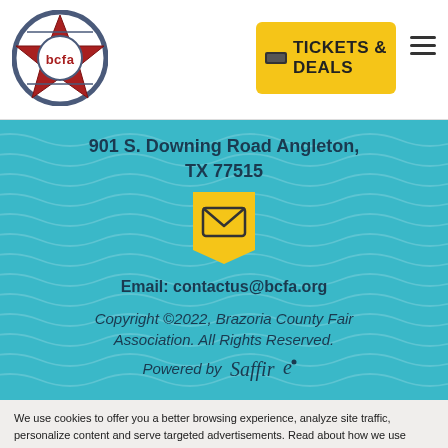[Figure (logo): BCFA logo: circular badge with star and text 'bcfa' on red background]
[Figure (infographic): Yellow button with ticket icon and text 'TICKETS & DEALS']
901 S. Downing Road Angleton, TX 77515
[Figure (infographic): Yellow bookmark/pin icon with white envelope/email icon]
Email: contactus@bcfa.org
Copyright ©2022, Brazoria County Fair Association. All Rights Reserved.
Powered by Saffire
We use cookies to offer you a better browsing experience, analyze site traffic, personalize content and serve targeted advertisements. Read about how we use cookies and how you can control them by clicking "Cookie Settings". If you continue to use this site, you consent to our use of cookies.
Cookie Settings
Accept Cookies